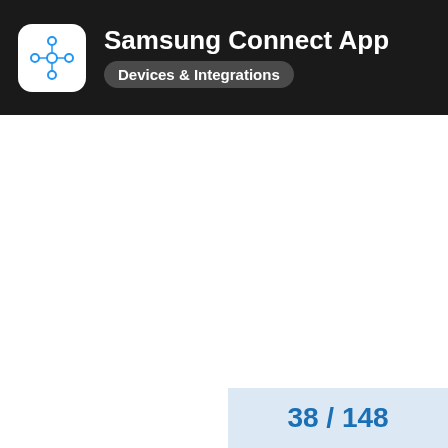Samsung Connect App — Devices & Integrations
38 / 148